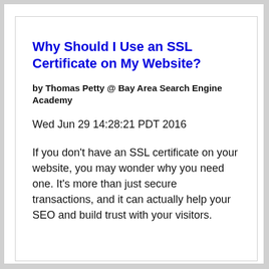Why Should I Use an SSL Certificate on My Website?
by Thomas Petty @ Bay Area Search Engine Academy
Wed Jun 29 14:28:21 PDT 2016
If you don't have an SSL certificate on your website, you may wonder why you need one. It's more than just secure transactions, and it can actually help your SEO and build trust with your visitors.